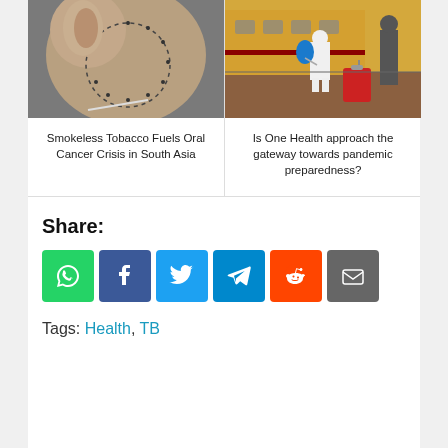[Figure (photo): Close-up photo of a person's neck/face with surgical stitches, related to oral cancer]
Smokeless Tobacco Fuels Oral Cancer Crisis in South Asia
[Figure (photo): Person in white hazmat suit with blue sprayer backpack at a train station platform, with a red suitcase nearby]
Is One Health approach the gateway towards pandemic preparedness?
Share:
Tags: Health, TB